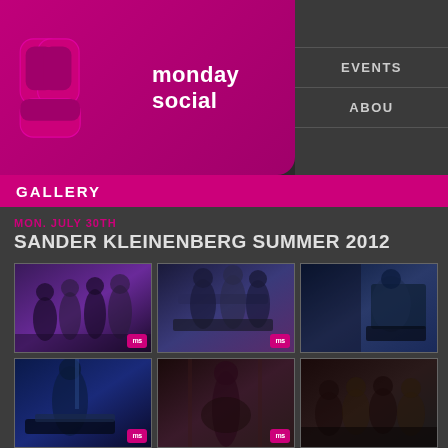[Figure (logo): Monday Social logo with pink/magenta MS initials badge and nav items EVENTS and ABOUT]
GALLERY
MON. JULY 30TH
SANDER KLEINENBERG SUMMER 2012
[Figure (photo): Group of people posing at nightclub event, purple lighting]
[Figure (photo): DJs at DJ booth with equipment, blue/purple lighting]
[Figure (photo): DJ at turntables with crowd, blue stage lighting]
[Figure (photo): DJ performing at booth with arms raised, blue lighting]
[Figure (photo): Female performer in costume on stage, dark background]
[Figure (photo): Group of people sitting at nightclub booth, dark lighting]